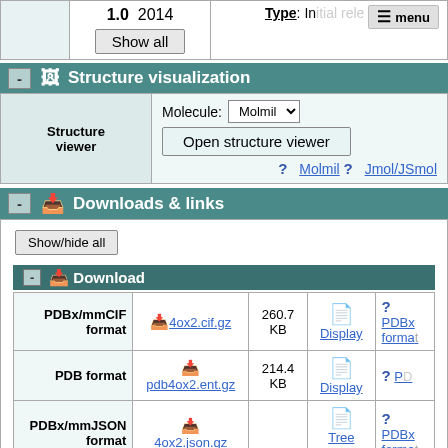| Version | Year | Type |
| --- | --- | --- |
| 1.0 | 2014 | Type: Initial release |
Structure visualization
|  | Controls |
| --- | --- |
| Structure viewer | Molecule: Molmil
Open structure viewer
? Molmil  ? Jmol/JSmol |
Downloads & links
Show/hide all
Download
| Format | File | Size | Display | Help |
| --- | --- | --- | --- | --- |
| PDBx/mmCIF format | 4ox2.cif.gz | 260.7 KB | Display | PDBx format |
| PDB format | pdb4ox2.ent.gz | 214.4 KB | Display | PDB format |
| PDBx/mmJSON format | 4ox2.json.gz |  | Tree view | PDBx format |
| Other | Other |  |  |  |